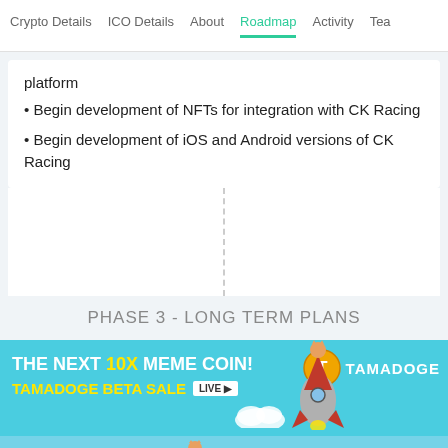Crypto Details  ICO Details  About  Roadmap  Activity  Tea
platform
• Begin development of NFTs for integration with CK Racing
• Begin development of iOS and Android versions of CK Racing
PHASE 3 - LONG TERM PLANS
[Figure (illustration): Tamadoge advertisement banner: 'THE NEXT 10X MEME COIN! TAMADOGE BETA SALE LIVE' with rocket, cat, coin and cloud illustrations, repeated in two rows.]